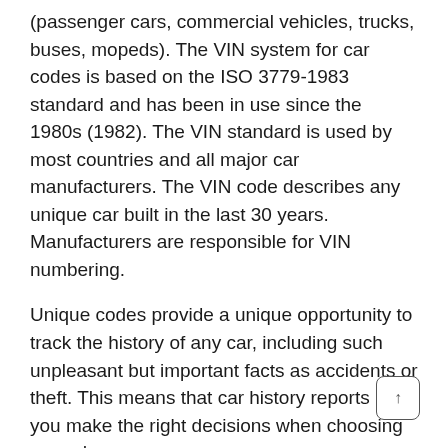(passenger cars, commercial vehicles, trucks, buses, mopeds). The VIN system for car codes is based on the ISO 3779-1983 standard and has been in use since the 1980s (1982). The VIN standard is used by most countries and all major car manufacturers. The VIN code describes any unique car built in the last 30 years. Manufacturers are responsible for VIN numbering.
Unique codes provide a unique opportunity to track the history of any car, including such unpleasant but important facts as accidents or theft. This means that car history reports help you make the right decisions when choosing a used car.
Recent VIN checks
VF70BBHYBEE542449
8AD2MN6AR9G066510